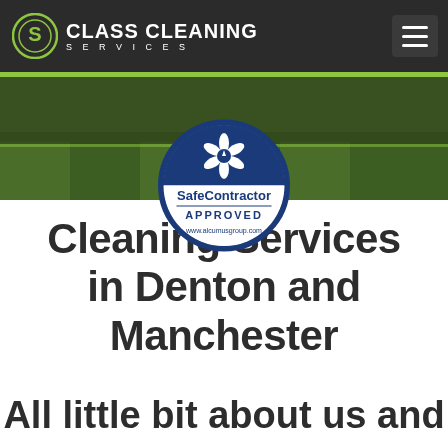CLASS CLEANING SERVICES
[Figure (logo): Class Cleaning Services logo with circular icon on dark header bar]
[Figure (illustration): SafeContractor Approved badge/seal with flower emblem, blue circular badge reading SafeContractor APPROVED www.alcumusgroup.com]
Cleaning Services in Denton and Manchester
All little bit about us and